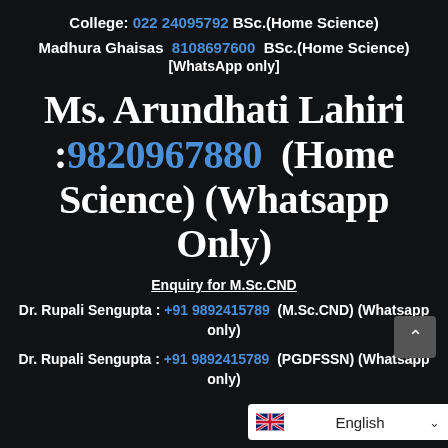College: 022 24095792 BSc.(Home Science)
Madhura Ghaisas  8108697600  BSc.(Home Science) [WhatsApp only]
Ms. Arundhati Lahiri :9820967880  (Home Science) (Whatsapp Only)
Enquiry for M.Sc.CND
Dr. Rupali Sengupta : +91 9892415789  (M.Sc.CND) (Whatsapp only)
Dr. Rupali Sengupta : +91 9892415789  (PGDFSSN) (Whatsapp only)